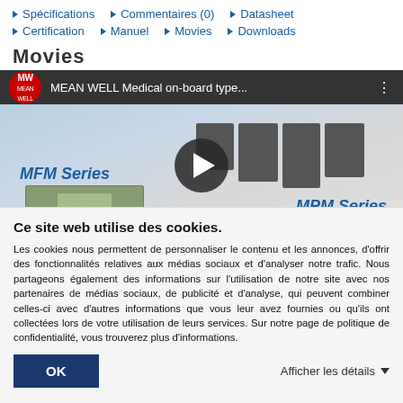Spécifications | Commentaires (0) | Datasheet | Certification | Manuel | Movies | Downloads
Movies
[Figure (screenshot): YouTube video thumbnail for MEAN WELL Medical on-board type power supplies, showing MFM Series and MPM Series products with a play button overlay.]
Ce site web utilise des cookies.
Les cookies nous permettent de personnaliser le contenu et les annonces, d'offrir des fonctionnalités relatives aux médias sociaux et d'analyser notre trafic. Nous partageons également des informations sur l'utilisation de notre site avec nos partenaires de médias sociaux, de publicité et d'analyse, qui peuvent combiner celles-ci avec d'autres informations que vous leur avez fournies ou qu'ils ont collectées lors de votre utilisation de leurs services. Sur notre page de politique de confidentialité, vous trouverez plus d'informations.
OK
Afficher les détails